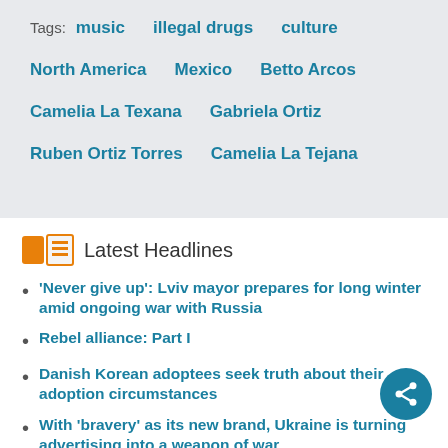Tags:  music  illegal drugs  culture
North America  Mexico  Betto Arcos
Camelia La Texana  Gabriela Ortiz
Ruben Ortiz Torres  Camelia La Tejana
Latest Headlines
'Never give up': Lviv mayor prepares for long winter amid ongoing war with Russia
Rebel alliance: Part I
Danish Korean adoptees seek truth about their adoption circumstances
With 'bravery' as its new brand, Ukraine is turning advertising into a weapon of war